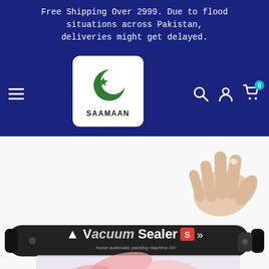Free Shipping Over 2999. Due to flood situations across Pakistan, deliveries might get delayed.
[Figure (logo): Saamaan logo: green crescent and star on white rounded rectangle, text SAAMAAN below]
[Figure (photo): Product photo of a black Vacuum Sealer S device with a hand pressing it, vacuum sealing a bag of food (fish/shrimp visible)]